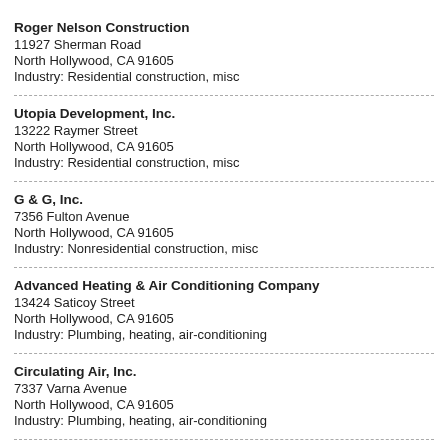Roger Nelson Construction
11927 Sherman Road
North Hollywood, CA 91605
Industry: Residential construction, misc
Utopia Development, Inc.
13222 Raymer Street
North Hollywood, CA 91605
Industry: Residential construction, misc
G & G, Inc.
7356 Fulton Avenue
North Hollywood, CA 91605
Industry: Nonresidential construction, misc
Advanced Heating & Air Conditioning Company
13424 Saticoy Street
North Hollywood, CA 91605
Industry: Plumbing, heating, air-conditioning
Circulating Air, Inc.
7337 Varna Avenue
North Hollywood, CA 91605
Industry: Plumbing, heating, air-conditioning